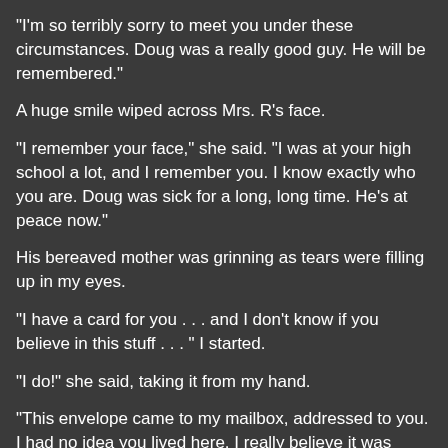"I'm so terribly sorry to meet you under these circumstances. Doug was a really good guy. He will be remembered."
A huge smile wiped across Mrs. R's face.
"I remember your face," she said. "I was at your high school a lot, and I remember you. I know exactly who you are. Doug was sick for a long, long time. He's at peace now."
His bereaved mother was grinning as tears were filling up in my eyes.
"I have a card for you . . . and I don't know if you believe in this stuff . . . " I started.
"I do!" she said, taking it from my hand.
"This envelope came to my mailbox, addressed to you. I had no idea you lived here. I really believe it was Doug's way of saying, 'Go meet my mom. She's right there!' This envelope could have ended up at any house in this development, but it came to mine."